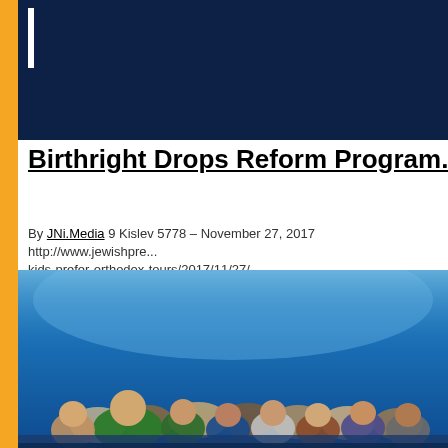[Figure (other): Dark navy blue header banner with white vertical bar element]
Birthright Drops Reform Program...
By JNi.Media 9 Kislev 5778 – November 27, 2017 http://www.jewishpre... kids-prefer-orthodox-tours/2017/11/27/
[Figure (photo): Group of young people smiling and posing together outdoors against a bright blue sky, appearing to be on a Birthright Israel trip]